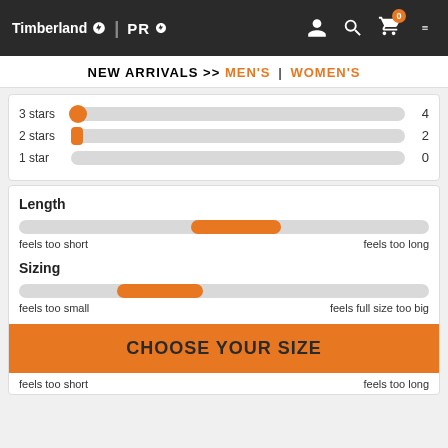Timberland PRO
NEW ARRIVALS >> MEN'S | WOMEN'S
3 stars  4
2 stars  2
1 star   0
Length
feels too short   feels too long
Sizing
feels too small   feels full size too big
CHOOSE YOUR SIZE
feels too short   feels too long